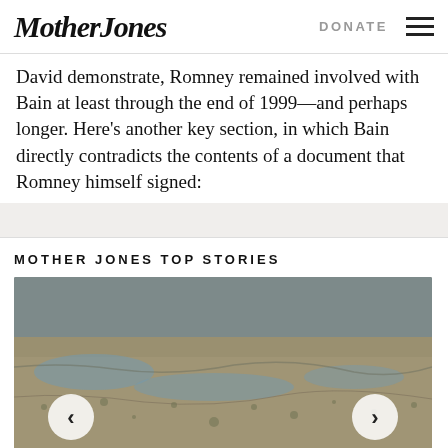Mother Jones | DONATE
David demonstrate, Romney remained involved with Bain at least through the end of 1999—and perhaps longer. Here's another key section, in which Bain directly contradicts the contents of a document that Romney himself signed:
MOTHER JONES TOP STORIES
[Figure (photo): Aerial photograph of a landscape, possibly showing flood damage or barren terrain. Carousel navigation arrows (left and right) are overlaid on the image.]